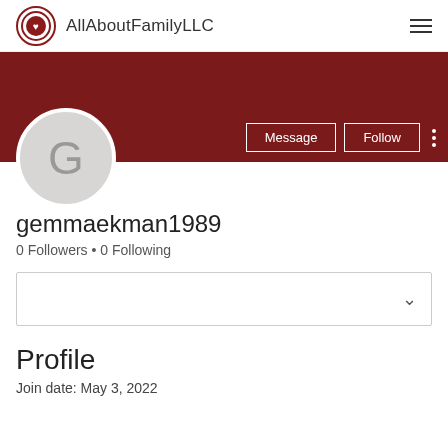AllAboutFamilyLLC
[Figure (screenshot): Dark red banner background for user profile page]
[Figure (illustration): Gray circular avatar with letter G]
Message   Follow
gemmaekman1989
0 Followers • 0 Following
Profile
Join date: May 3, 2022